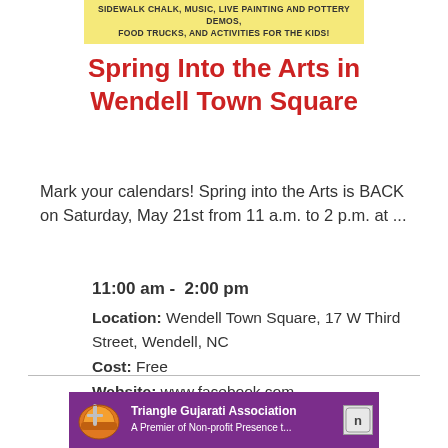SIDEWALK CHALK, MUSIC, LIVE PAINTING AND POTTERY DEMOS, FOOD TRUCKS, AND ACTIVITIES FOR THE KIDS!
Spring Into the Arts in Wendell Town Square
Mark your calendars! Spring into the Arts is BACK on Saturday, May 21st from 11 a.m. to 2 p.m. at ...
11:00 am -  2:00 pm
Location: Wendell Town Square, 17 W Third Street, Wendell, NC
Cost: Free
Website: www.facebook.com
Category: Free
[Figure (logo): Triangle Gujarati Association banner with purple background, football helmet graphic, association name in white bold text, and a logo icon.]